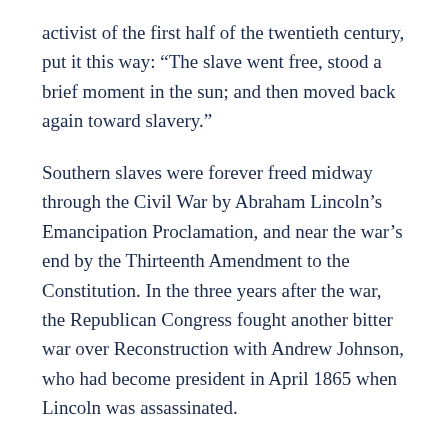activist of the first half of the twentieth century, put it this way: “The slave went free, stood a brief moment in the sun; and then moved back again toward slavery.”
Southern slaves were forever freed midway through the Civil War by Abraham Lincoln’s Emancipation Proclamation, and near the war’s end by the Thirteenth Amendment to the Constitution. In the three years after the war, the Republican Congress fought another bitter war over Reconstruction with Andrew Johnson, who had become president in April 1865 when Lincoln was assassinated.
The majority in Congress, which was controlled by so-called Radical Republicans, all of them abolitionists, wanted blacks to have an edge in the South and to be treated equally under the law with whites, and so passed legislation to that end. Johnson’s plans centered on restoring white control in the